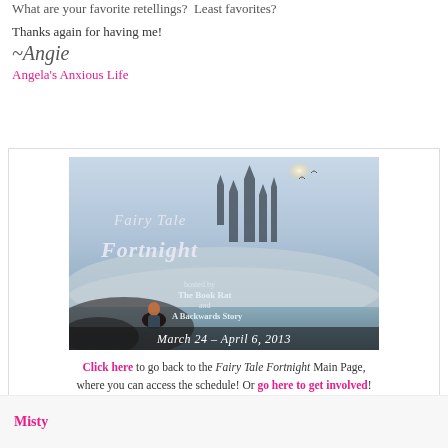What are your favorite retellings?  Least favorites?
Thanks again for having me!
~Angie
Angela's Anxious Life
[Figure (illustration): Fairy Tale Fortnight event banner image showing a fantasy castle in mist, a red-haired girl sitting on rocks, with text: 'Fairy Tale Fortnight, hosted by The Book Rat and A Backwards Story, March 24 - April 6, 2013']
Click here to go back to the Fairy Tale Fortnight Main Page, where you can access the schedule! Or go here to get involved!
Misty